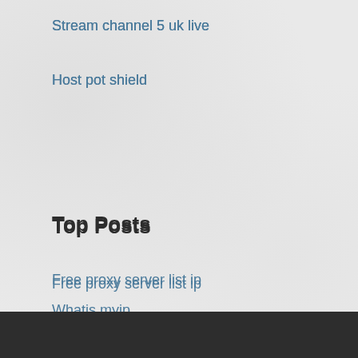Stream channel 5 uk live
Host pot shield
Top Posts
Free proxy server list ip
Whatis myip
Indi free
Amazon video player not working
Afwall